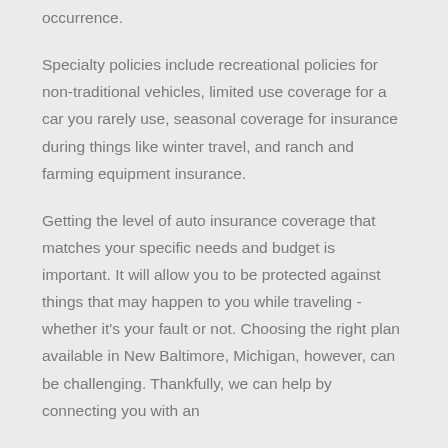occurrence.
Specialty policies include recreational policies for non-traditional vehicles, limited use coverage for a car you rarely use, seasonal coverage for insurance during things like winter travel, and ranch and farming equipment insurance.
Getting the level of auto insurance coverage that matches your specific needs and budget is important. It will allow you to be protected against things that may happen to you while traveling - whether it's your fault or not. Choosing the right plan available in New Baltimore, Michigan, however, can be challenging. Thankfully, we can help by connecting you with an